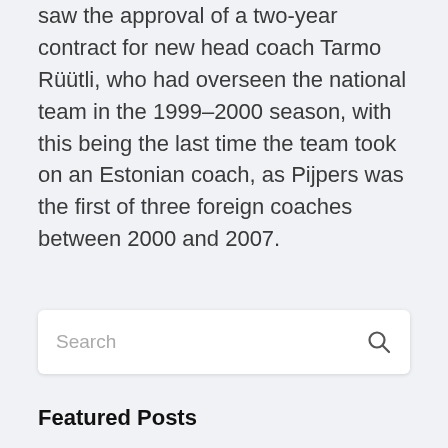saw the approval of a two-year contract for new head coach Tarmo Rüütli, who had overseen the national team in the 1999–2000 season, with this being the last time the team took on an Estonian coach, as Pijpers was the first of three foreign coaches between 2000 and 2007.
[Figure (other): Search input box with search icon on the right]
Featured Posts